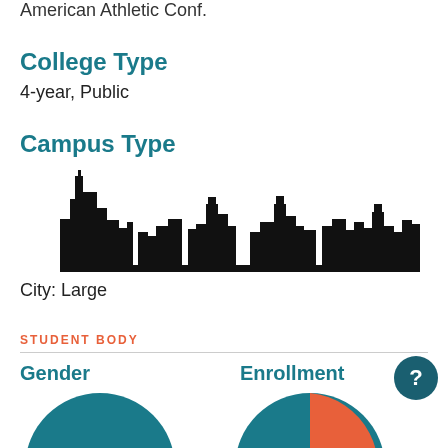American Athletic Conf.
College Type
4-year, Public
Campus Type
[Figure (illustration): Black silhouette of a city skyline with tall buildings]
City: Large
STUDENT BODY
Gender
Enrollment
[Figure (pie-chart): Partial pie chart for gender, teal colored, bottom portion visible]
[Figure (pie-chart): Partial pie chart for enrollment, teal with orange slice, bottom portion visible]